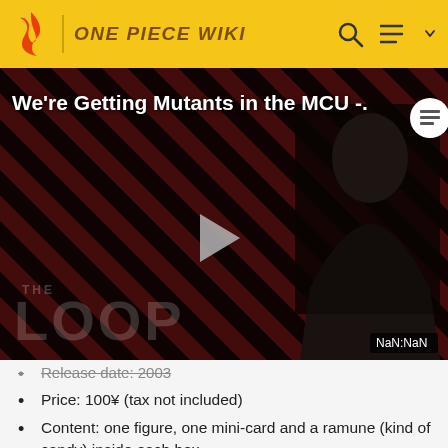ONE PIECE WIKI
[Figure (screenshot): Video player showing 'We're Getting Mutants in the MCU -...' with a dark-suited person, THE LOOP watermark, play button, and NaN:NaN timestamp. Diagonal red and dark stripe background.]
Release date: 2003
Price: 100¥ (tax not included)
Content: one figure, one mini-card and a ramune (kind of candy) inside each box
Arcs: Baratie, Alabasta, Jaya
Total of 12 characters